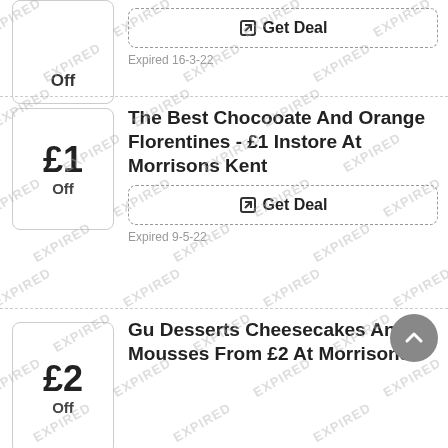Off
Get Deal
Expired 16-3-22
The Best Chocooate And Orange Florentines - £1 Instore At Morrisons Kent
£1 Off
Get Deal
Expired 9-5-22
Gu Desserts Cheesecakes And Mousses From £2 At Morrisons
£2 Off